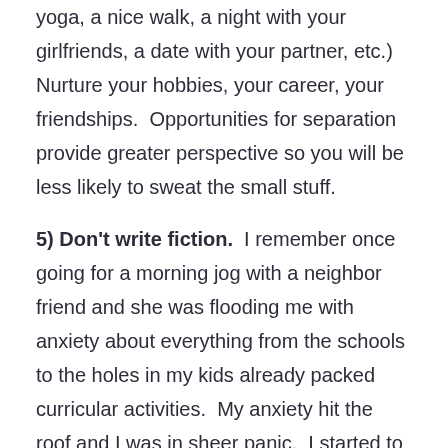yoga, a nice walk, a night with your girlfriends, a date with your partner, etc.)  Nurture your hobbies, your career, your friendships.  Opportunities for separation provide greater perspective so you will be less likely to sweat the small stuff.
5) Don't write fiction.  I remember once going for a morning jog with a neighbor friend and she was flooding me with anxiety about everything from the schools to the holes in my kids already packed curricular activities.  My anxiety hit the roof and I was in sheer panic.  I started to “write fiction” in my head, imaging all the “what if” stories that are based in fear (“Are they going to get into the right schools?  Are they going to flourish?”)  Then I regrouped and realized these are her issues and decided not